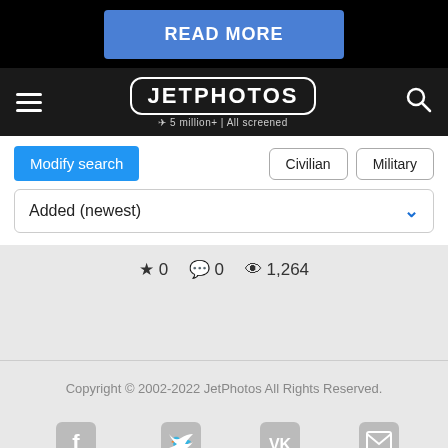[Figure (screenshot): Blue 'READ MORE' button on black background ad banner]
[Figure (logo): JetPhotos logo with tagline '5 million+ | All screened' on dark navbar with hamburger menu and search icon]
Modify search
Civilian   Military
Added (newest)
★ 0   💬 0   👁 1,264
Copyright © 2002-2022 JetPhotos All Rights Reserved.
Facebook   Twitter   vk.com   Forum